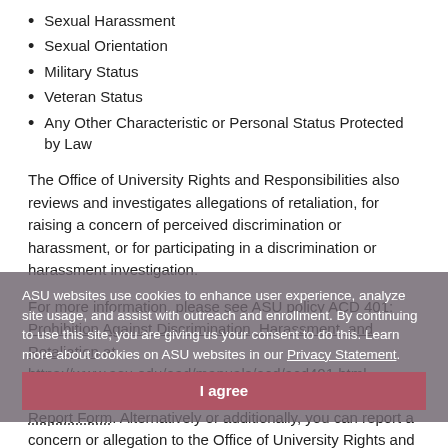Sexual Harassment
Sexual Orientation
Military Status
Veteran Status
Any Other Characteristic or Personal Status Protected by Law
The Office of University Rights and Responsibilities also reviews and investigates allegations of retaliation, for raising a concern of perceived discrimination or harassment, or for participating in a discrimination or harassment investigation.
For more information, please see ASU policy ACD 401: Prohibition Against Discrimination, Harassment, and Retaliation at https://www.asu.edu/aad/manuals/acd/acd401.html
ASU websites use cookies to enhance user experience, analyze site usage, and assist with outreach and enrollment. By continuing to use this site, you are giving us your consent to do this. Learn more about cookies on ASU websites in our Privacy Statement.
I agree
If you would like to submit a report, please complete our Report Form. Alternatively or additionally, you can report a concern or allegation to the Office of University Rights and